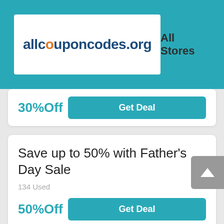[Figure (logo): allcouponcodes.org logo with orange dot, white background box, on teal header. 'All Stores' text in dark on right.]
30%Off
Get Deal
Save up to 50% with Father's Day Sale
134 Used
50%Off
Get Deal
all virgin hair First Order Discount
Find 10% Off 1st Order